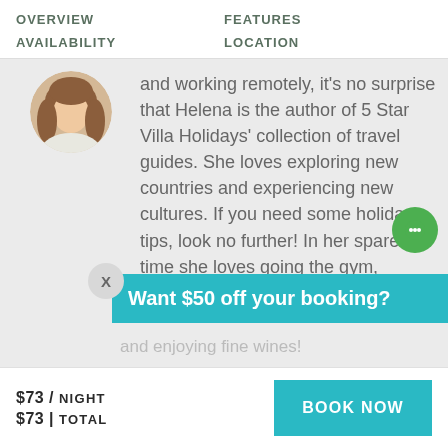OVERVIEW   FEATURES   AVAILABILITY   LOCATION
[Figure (photo): Circular avatar photo of a woman with long brown hair wearing a white top, partially cropped]
and working remotely, it's no surprise that Helena is the author of 5 Star Villa Holidays' collection of travel guides. She loves exploring new countries and experiencing new cultures. If you need some holiday tips, look no further! In her spare time she loves going the gym, compiling her
Want $50 off your booking?
and enjoying fine wines!
$73 / NIGHT
$73 | TOTAL
BOOK NOW